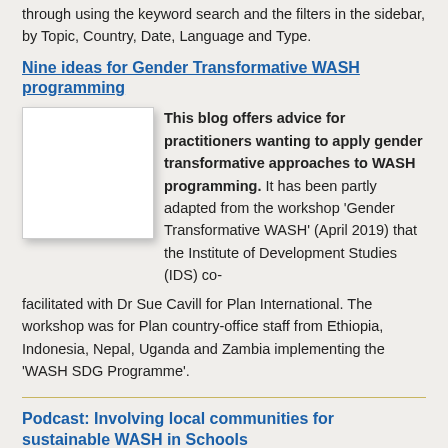through using the keyword search and the filters in the sidebar, by Topic, Country, Date, Language and Type.
Nine ideas for Gender Transformative WASH programming
[Figure (photo): Thumbnail image placeholder for the blog post about Gender Transformative WASH programming]
This blog offers advice for practitioners wanting to apply gender transformative approaches to WASH programming. It has been partly adapted from the workshop 'Gender Transformative WASH' (April 2019) that the Institute of Development Studies (IDS) co-facilitated with Dr Sue Cavill for Plan International. The workshop was for Plan country-office staff from Ethiopia, Indonesia, Nepal, Uganda and Zambia implementing the 'WASH SDG Programme'.
Podcast: Involving local communities for sustainable WASH in Schools
[Figure (photo): Thumbnail image placeholder for the podcast about involving local communities for sustainable WASH in Schools]
In this episode of WASH Talks podcast series, host Andy Narracott talks about